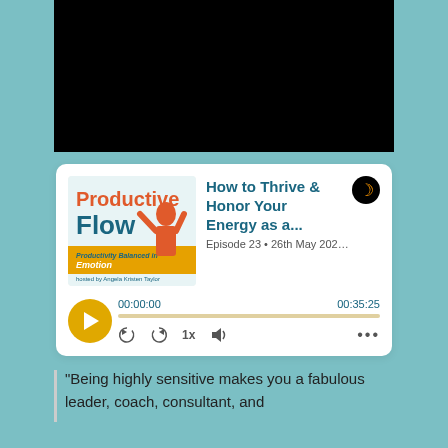[Figure (screenshot): Black video player area at top of page]
[Figure (screenshot): Podcast player widget showing 'Productive Flow' podcast episode 'How to Thrive & Honor Your Energy as a...' Episode 23, 26th May 202... with timestamp 00:00:00 / 00:35:25 and playback controls]
"Being highly sensitive makes you a fabulous leader, coach, consultant, and